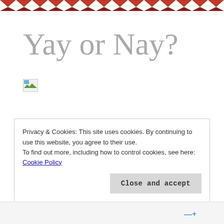[Figure (illustration): Decorative red and white diamond/chevron zigzag border pattern at top of page]
Yay or Nay?
[Figure (photo): Broken/missing image placeholder icon with small green landscape thumbnail]
Privacy & Cookies: This site uses cookies. By continuing to use this website, you agree to their use.
To find out more, including how to control cookies, see here: Cookie Policy
Close and accept